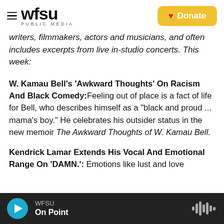WFSU PUBLIC MEDIA | Donate
writers, filmmakers, actors and musicians, and often includes excerpts from live in-studio concerts. This week:
W. Kamau Bell's 'Awkward Thoughts' On Racism And Black Comedy: Feeling out of place is a fact of life for Bell, who describes himself as a "black and proud ... mama's boy." He celebrates his outsider status in the new memoir The Awkward Thoughts of W. Kamau Bell.
Kendrick Lamar Extends His Vocal And Emotional Range On 'DAMN.': Emotions like lust and love
WFSU | On Point